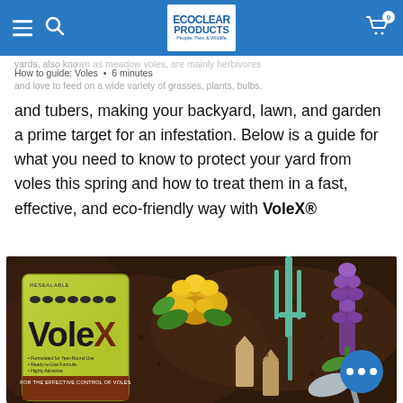EcoClear Products — navigation bar with hamburger menu, search icon, logo, and cart icon (0 items)
yards, also known as meadow voles, are mainly herbivores and love to feed on a wide variety of grasses, plants, bulbs, and tubers, making your backyard, lawn, and garden a prime target for an infestation. Below is a guide for what you need to know to protect your yard from voles this spring and how to treat them in a fast, effective, and eco-friendly way with VoleX®
How to guide: Voles  •  6 minutes
[Figure (photo): VoleX® product package (green resealable bag with brown bottom strip reading 'FOR THE EFFECTIVE CONTROL OF VOLES') lying on dark soil next to yellow primrose flowers, a teal/mint garden fork, purple hyacinth flowers, small wooden garden markers, and a silver trowel. A blue chat bubble with three white dots appears in the lower right of the image.]